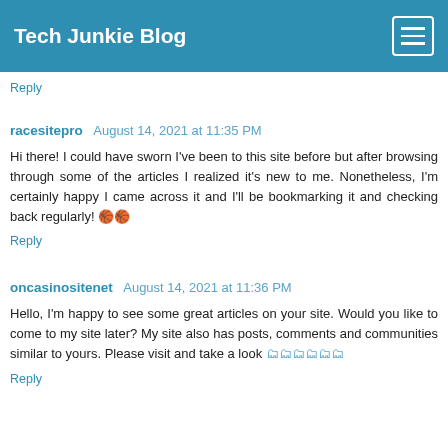Tech Junkie Blog
Reply
racesitepro  August 14, 2021 at 11:35 PM
Hi there! I could have sworn I've been to this site before but after browsing through some of the articles I realized it's new to me. Nonetheless, I'm certainly happy I came across it and I'll be bookmarking it and checking back regularly! 🏀🏀
Reply
oncasinositenet  August 14, 2021 at 11:36 PM
Hello, I'm happy to see some great articles on your site. Would you like to come to my site later? My site also has posts, comments and communities similar to yours. Please visit and take a look 🗂🗂🗂🗂🗂🗂
Reply